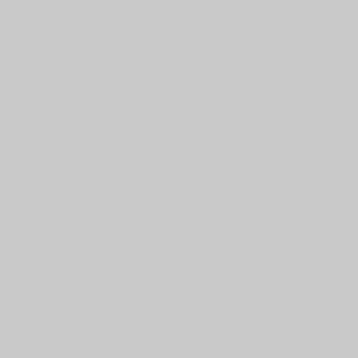discover the gems that lie among the hills and valleys of the Margaret River region.
[Figure (photo): Two people working in a vineyard between rows of green vines, muddy ground, trees in background]
[Figure (photo): Close-up of green grape vine leaves and clusters from below]